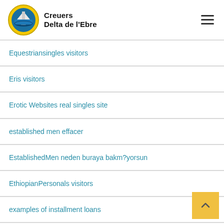Creuers Delta de l'Ebre
Equestriansingles visitors
Eris visitors
Erotic Websites real singles site
established men effacer
EstablishedMen neden buraya bakm?yorsun
EthiopianPersonals visitors
examples of installment loans
FaceFlow visitors